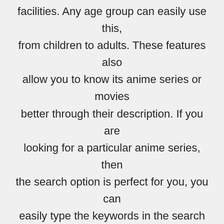facilities. Any age group can easily use this, from children to adults. These features also allow you to know its anime series or movies better through their description. If you are looking for a particular anime series, then the search option is perfect for you, you can easily type the keywords in the search bar, and you will get the results in a fraction of a second.
A huge collection of Hollywood series is also available, and the best part is they are regularly updated. You can select the video quality from 144 pixels to 1024 pixels,